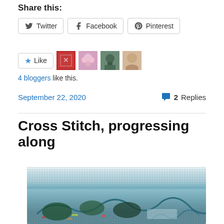Share this:
Twitter
Facebook
Pinterest
4 bloggers like this.
September 22, 2020  2 Replies
Cross Stitch, progressing along
[Figure (photo): A cross stitch work in progress on canvas, showing a partially stitched scene with blues, greens, and other colors.]